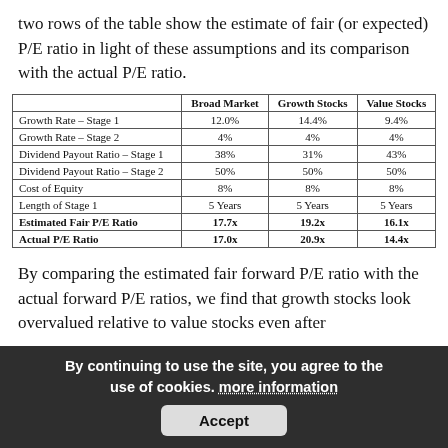two rows of the table show the estimate of fair (or expected) P/E ratio in light of these assumptions and its comparison with the actual P/E ratio.
|  | Broad Market | Growth Stocks | Value Stocks |
| --- | --- | --- | --- |
| Growth Rate – Stage 1 | 12.0% | 14.4% | 9.4% |
| Growth Rate – Stage 2 | 4% | 4% | 4% |
| Dividend Payout Ratio – Stage 1 | 38% | 31% | 43% |
| Dividend Payout Ratio – Stage 2 | 50% | 50% | 50% |
| Cost of Equity | 8% | 8% | 8% |
| Length of Stage 1 | 5 Years | 5 Years | 5 Years |
| Estimated Fair P/E Ratio | 17.7x | 19.2x | 16.1x |
| Actual P/E Ratio | 17.0x | 20.9x | 14.4x |
By comparing the estimated fair forward P/E ratio with the actual forward P/E ratios, we find that growth stocks look overvalued relative to value stocks even after taking the importance of growth into account.
Conclusion
Although a significant proportion of growth stocks'